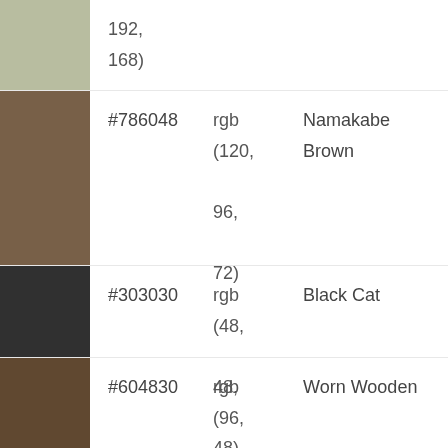[Figure (infographic): Partial color swatch row at top: sage/grey-green color swatch, with partial rgb values showing '192, 168)']
192, 168)
[Figure (infographic): Color swatch: Namakabe Brown (#786048), rgb(120, 96, 72)]
#786048   rgb (120, 96, 72)   Namakabe Brown
[Figure (infographic): Color swatch: Black Cat (#303030), rgb(48, 48, 48)]
#303030   rgb (48, 48, 48)   Black Cat
[Figure (infographic): Color swatch: Worn Wooden (#604830), rgb(96, 72, ...)]
#604830   rgb (96, 72,   Worn Wooden